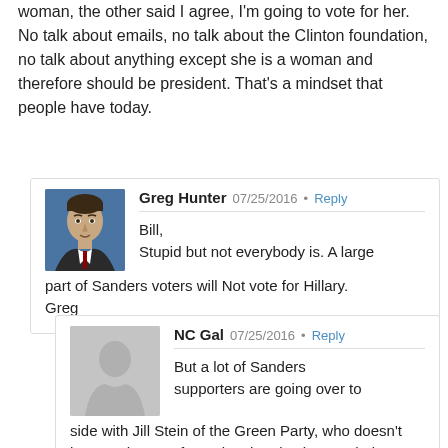woman, the other said I agree, I'm going to vote for her. No talk about emails, no talk about the Clinton foundation, no talk about anything except she is a woman and therefore should be president. That's a mindset that people have today.
[Figure (photo): Profile photo of Greg Hunter, a man in a suit against a blue background]
Greg Hunter 07/25/2016 • Reply
Bill,
Stupid but not everybody is. A large part of Sanders voters will Not vote for Hillary. Greg
[Figure (illustration): Generic gray silhouette avatar placeholder for NC Gal]
NC Gal 07/25/2016 • Reply
But a lot of Sanders supporters are going over to side with Jill Stein of the Green Party, who doesn't have a chance of carrying the election, so their votes will actually help Hillary, unless they vote for Trump, but most